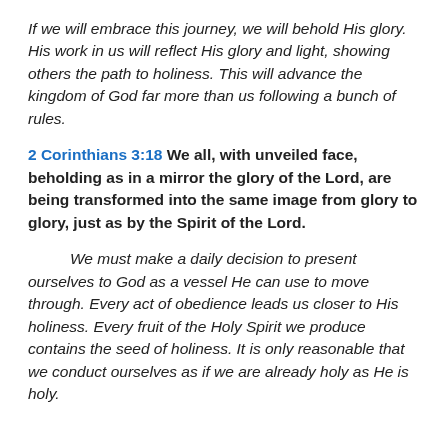If we will embrace this journey, we will behold His glory. His work in us will reflect His glory and light, showing others the path to holiness. This will advance the kingdom of God far more than us following a bunch of rules.
2 Corinthians 3:18 We all, with unveiled face, beholding as in a mirror the glory of the Lord, are being transformed into the same image from glory to glory, just as by the Spirit of the Lord.
We must make a daily decision to present ourselves to God as a vessel He can use to move through. Every act of obedience leads us closer to His holiness. Every fruit of the Holy Spirit we produce contains the seed of holiness. It is only reasonable that we conduct ourselves as if we are already holy as He is holy.